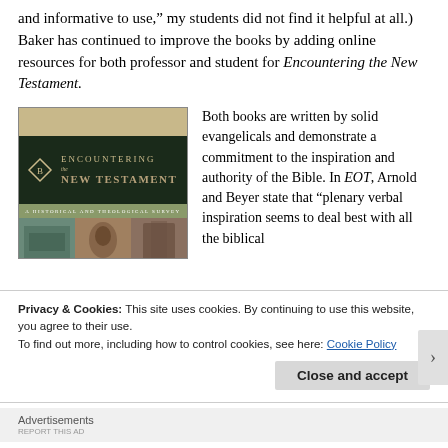and informative to use,” my students did not find it helpful at all.) Baker has continued to improve the books by adding online resources for both professor and student for Encountering the New Testament.
[Figure (photo): Book cover of 'Encountering the New Testament: A Historical and Theological Survey' with dark background, diamond logo, and three landscape/religious images at bottom.]
Both books are written by solid evangelicals and demonstrate a commitment to the inspiration and authority of the Bible. In EOT, Arnold and Beyer state that “plenary verbal inspiration seems to deal best with all the biblical
Privacy & Cookies: This site uses cookies. By continuing to use this website, you agree to their use.
To find out more, including how to control cookies, see here: Cookie Policy
Close and accept
Advertisements